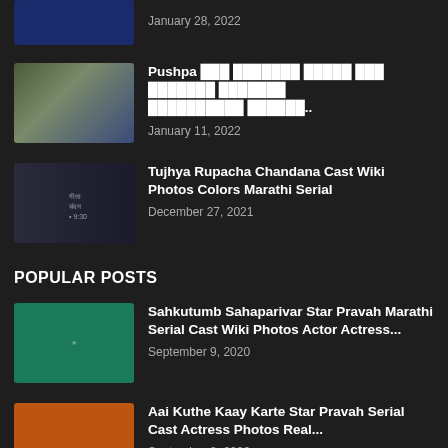[Figure (photo): Partial thumbnail of a TV show, dark blue background]
January 28, 2022
[Figure (photo): Thumbnail showing a building and a woman posing]
Pushpa [Marathi text] January 11, 2022
[Figure (photo): Thumbnail for Tujhya Rupacha Chandana, dark themed with woman's face]
Tujhya Rupacha Chandana Cast Wiki Photos Colors Marathi Serial
December 27, 2021
POPULAR POSTS
[Figure (photo): Thumbnail for Sahkutumb Sahaparivar showing a family group on teal background with Star logo]
Sahkutumb Sahaparivar Star Pravah Marathi Serial Cast Wiki Photos Actor Actress...
September 9, 2020
[Figure (photo): Thumbnail for Aai Kuthe Kaay Karte showing a woman smiling on orange background]
Aai Kuthe Kaay Karte Star Pravah Serial Cast Actress Photos Real...
September 8, 2020